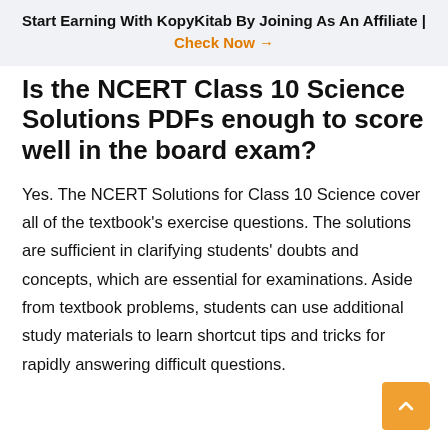Start Earning With KopyKitab By Joining As An Affiliate | Check Now →
Is the NCERT Class 10 Science Solutions PDFs enough to score well in the board exam?
Yes. The NCERT Solutions for Class 10 Science cover all of the textbook's exercise questions. The solutions are sufficient in clarifying students' doubts and concepts, which are essential for examinations. Aside from textbook problems, students can use additional study materials to learn shortcut tips and tricks for rapidly answering difficult questions.